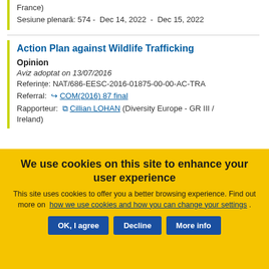France)
Sesiune plenară: 574 -  Dec 14, 2022  -  Dec 15, 2022
Action Plan against Wildlife Trafficking
Opinion
Aviz adoptat on 13/07/2016
Referințe: NAT/686-EESC-2016-01875-00-00-AC-TRA
Referral: COM(2016) 87 final
Rapporteur: Cillian LOHAN (Diversity Europe - GR III / Ireland)
We use cookies on this site to enhance your user experience
This site uses cookies to offer you a better browsing experience. Find out more on how we use cookies and how you can change your settings .
OK, I agree
Decline
More info